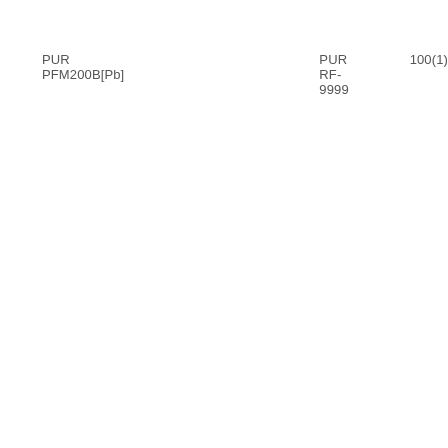PUR PFM200B[Pb]    PUR RF-9999    100(1)